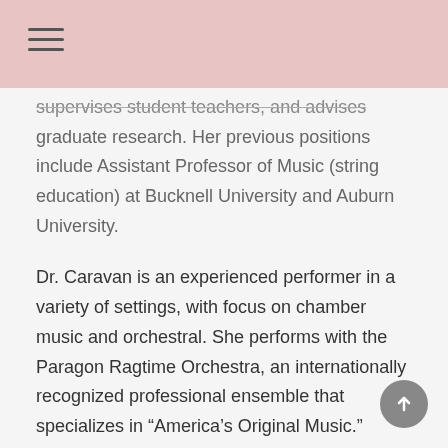≡
supervises student teachers, and advises graduate research. Her previous positions include Assistant Professor of Music (string education) at Bucknell University and Auburn University.
Dr. Caravan is an experienced performer in a variety of settings, with focus on chamber music and orchestral. She performs with the Paragon Ragtime Orchestra, an internationally recognized professional ensemble that specializes in “America’s Original Music.” Recently, she recorded with Paragon on their latest CD, Black Manhattan, Volume 3. Dr.